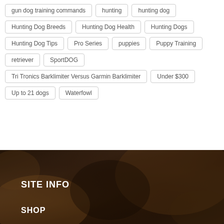gun dog training commands
hunting
hunting dog
Hunting Dog Breeds
Hunting Dog Health
Hunting Dogs
Hunting Dog Tips
Pro Series
puppies
Puppy Training
retriever
SportDOG
Tri Tronics Barklimiter Versus Garmin Barklimiter
Under $300
Up to 21 dogs
Waterfowl
[Figure (photo): Dark blurred background photo of an outdoor scene, dark browns and oranges, used as footer background]
SITE INFO
SHOP